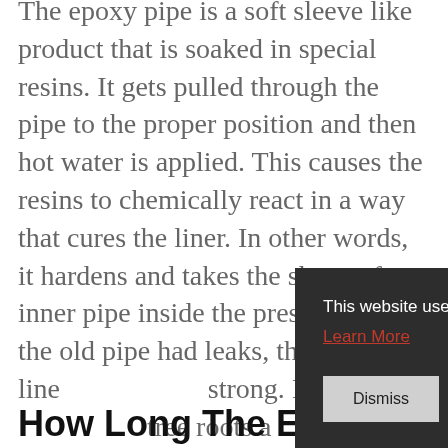The epoxy pipe is a soft sleeve like product that is soaked in special resins. It gets pulled through the pipe to the proper position and then hot water is applied. This causes the resins to chemically react in a way that cures the liner. In other words, it hardens and takes the shape of an inner pipe inside the present pipe. If the old pipe had leaks, this new line... strong. It is ... tree roots a... can break d...
This website uses cookies to ensure you get the best experience on our website. Learn More
How Long The Epoxy Liner